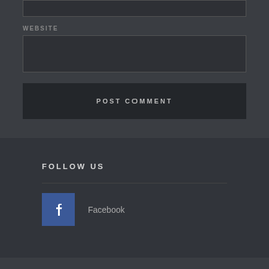[Figure (screenshot): A dark-themed web form section showing a text input box at top, a WEBSITE label with input field below, a POST COMMENT button, and a footer section with FOLLOW US heading and a Facebook social link icon.]
WEBSITE
POST COMMENT
FOLLOW US
Facebook